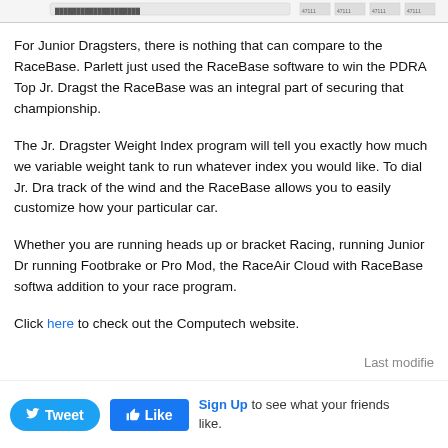[Figure (screenshot): Partial screenshot of a table/spreadsheet at the top of the page]
For Junior Dragsters, there is nothing that can compare to the RaceBase. Parlett just used the RaceBase software to win the PDRA Top Jr. Dragster the RaceBase was an integral part of securing that championship.
The Jr. Dragster Weight Index program will tell you exactly how much we variable weight tank to run whatever index you would like. To dial Jr. Dra track of the wind and the RaceBase allows you to easily customize how your particular car.
Whether you are running heads up or bracket Racing, running Junior Dra running Footbrake or Pro Mod, the RaceAir Cloud with RaceBase softwa addition to your race program.
Click here to check out the Computech website.
Last modifie
Tweet  Like  Sign Up to see what your friends like.